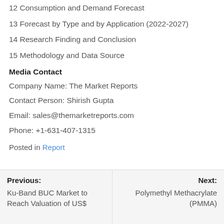12 Consumption and Demand Forecast
13 Forecast by Type and by Application (2022-2027)
14 Research Finding and Conclusion
15 Methodology and Data Source
Media Contact
Company Name: The Market Reports
Contact Person: Shirish Gupta
Email: sales@themarketreports.com
Phone: +1-631-407-1315
Posted in Report
Previous: Ku-Band BUC Market to Reach Valuation of US$
Next: Polymethyl Methacrylate (PMMA)